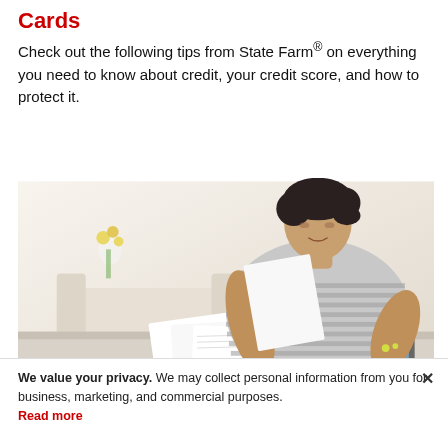Cards
Check out the following tips from State Farm® on everything you need to know about credit, your credit score, and how to protect it.
[Figure (photo): A young woman with short dark hair wearing a grey striped long-sleeve shirt, sitting at a table reviewing paper documents and using a tablet. Yellow flowers visible in the blurred background.]
We value your privacy. We may collect personal information from you for business, marketing, and commercial purposes. Read more